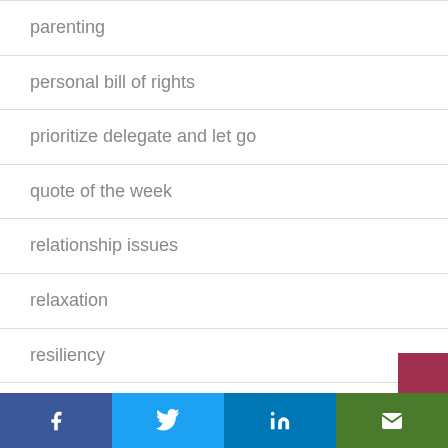parenting
personal bill of rights
prioritize delegate and let go
quote of the week
relationship issues
relaxation
resiliency
resources
sadness
santa barbara
Facebook | Twitter | LinkedIn | Email